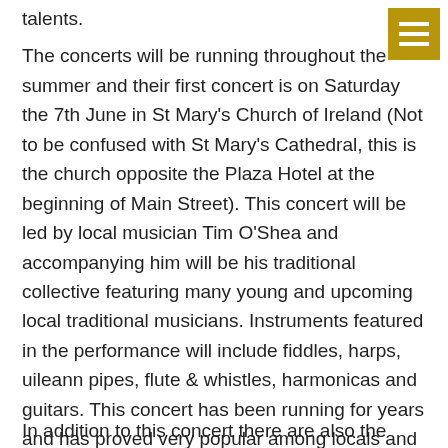talents.
The concerts will be running throughout the summer and their first concert is on Saturday the 7th June in St Mary's Church of Ireland (Not to be confused with St Mary's Cathedral, this is the church opposite the Plaza Hotel at the beginning of Main Street). This concert will be led by local musician Tim O'Shea and accompanying him will be his traditional collective featuring many young and upcoming local traditional musicians. Instruments featured in the performance will include fiddles, harps, uileann pipes, flute & whistles, harmonicas and guitars. This concert has been running for years and has proved very popular among locals and tourists alike. Admission is free as I mentioned and the concert begins at 8pm.
In addition to this concert there are also the following concerts...